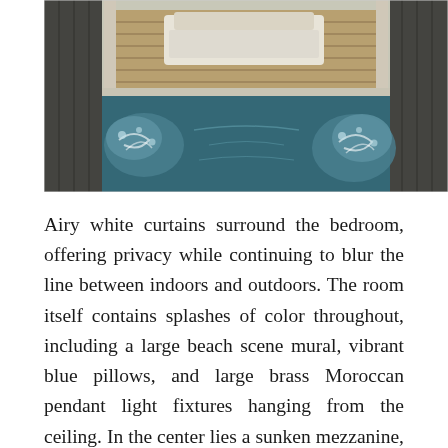[Figure (photo): Outdoor luxury pool/spa area with bubbling jacuzzi jets visible in a rectangular dark-tiled pool, wooden deck slats, white lounge furniture in the background under a pergola structure.]
Airy white curtains surround the bedroom, offering privacy while continuing to blur the line between indoors and outdoors. The room itself contains splashes of color throughout, including a large beach scene mural, vibrant blue pillows, and large brass Moroccan pendant light fixtures hanging from the ceiling. In the center lies a sunken mezzanine, creating a romantic lounge outfitted with a dark steel